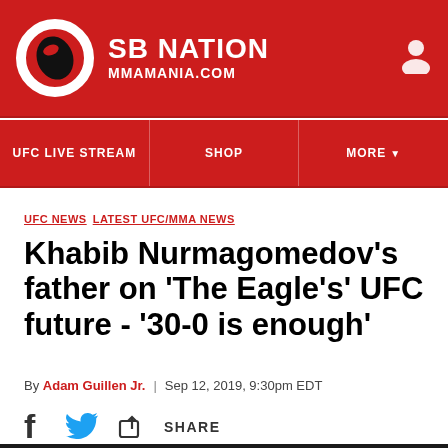SB NATION / MMAMANIA.COM
UFC LIVE STREAM  SHOP  MORE
UFC NEWS  LATEST UFC/MMA NEWS
Khabib Nurmagomedov's father on 'The Eagle's' UFC future - '30-0 is enough'
By Adam Guillen Jr.  |  Sep 12, 2019, 9:30pm EDT
SHARE